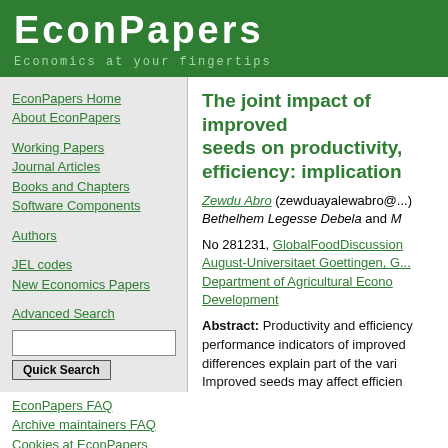EconPapers — Economics at your fingertips
EconPapers Home
About EconPapers
Working Papers
Journal Articles
Books and Chapters
Software Components
Authors
JEL codes
New Economics Papers
Advanced Search
EconPapers FAQ
Archive maintainers FAQ
Cookies at EconPapers
Format for printing
The joint impact of improved seeds on productivity, efficiency: implicatio
Zewdu Abro (zewduayalewabro@...), Bethelhem Legesse Debela and M
No 281231, GlobalFood Discussion... August-Universitaet Goettingen, Georg-August... Department of Agricultural Econo... Development
Abstract: Productivity and efficiency are key performance indicators of improved seeds. Soil differences explain part of the variation in yield. Improved seeds may affect efficiency as farmers often do not apply inputs at optimal rates and therefore not only directly affect productivity but indirectly through efficiency. If productivity and efficiency are not estimated jointly, it creates problems and it may (over)underee... improvement research. Pro